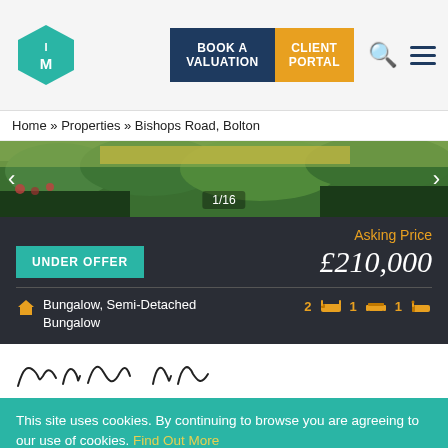[Figure (screenshot): Estate agency website header with hexagon logo (IM), navy Book a Valuation button, gold Client Portal button, search icon, and hamburger menu]
Home » Properties » Bishops Road, Bolton
[Figure (photo): Property exterior photo strip showing greenery/garden hedges, with navigation arrows and 1/16 counter]
Asking Price
UNDER OFFER
£210,000
Bungalow, Semi-Detached Bungalow  2 [bed] 1 [sofa] 1 [bath]
[Figure (other): Partial cursive/handwritten text visible behind cookie banner, appears to be 'Bishops Road']
This site uses cookies. By continuing to browse you are agreeing to our use of cookies. Find Out More
Click to chat with us now!